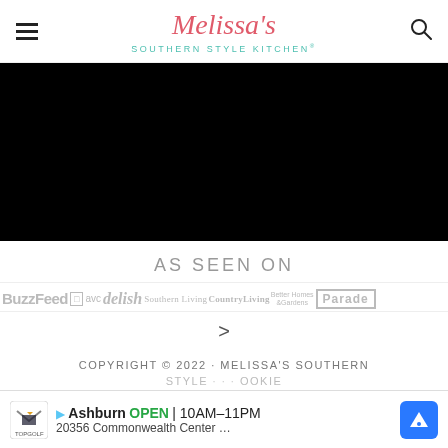Melissa's Southern Style Kitchen®
[Figure (photo): Black banner image area]
AS SEEN ON
[Figure (logo): Media logos: BuzzFeed, QVC, delish, Southern Living, Country Living, Better Homes & Gardens, Parade]
>
COPYRIGHT © 2022 · MELISSA'S SOUTHERN STYLE
Ashburn OPEN 10AM–11PM 20356 Commonwealth Center … (Topgolf advertisement)